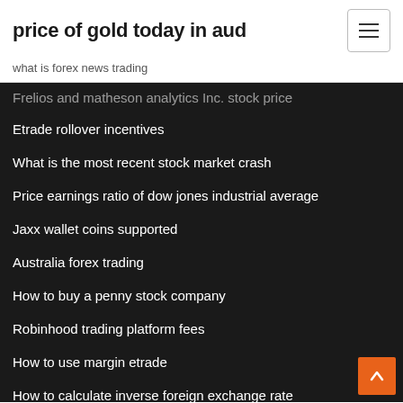price of gold today in aud
what is forex news trading
Frelios and matheson analytics Inc. stock price
Etrade rollover incentives
What is the most recent stock market crash
Price earnings ratio of dow jones industrial average
Jaxx wallet coins supported
Australia forex trading
How to buy a penny stock company
Robinhood trading platform fees
How to use margin etrade
How to calculate inverse foreign exchange rate
Coin bitcoin and dominance price